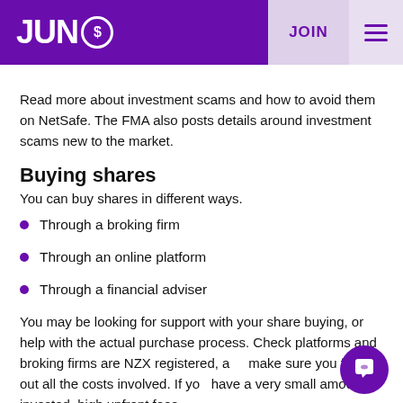JUNO | JOIN
Read more about investment scams and how to avoid them on NetSafe. The FMA also posts details around investment scams new to the market.
Buying shares
You can buy shares in different ways.
Through a broking firm
Through an online platform
Through a financial adviser
You may be looking for support with your share buying, or help with the actual purchase process. Check platforms and broking firms are NZX registered, and make sure you find out all the costs involved. If you have a very small amount invested, high upfront fees